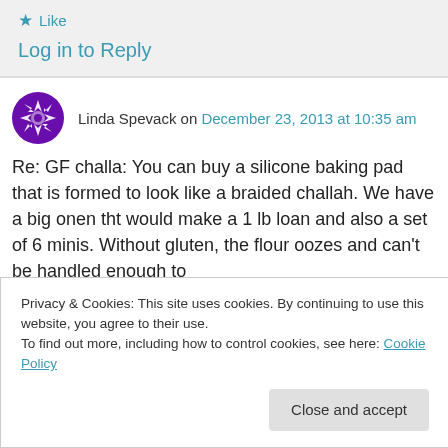★ Like
Log in to Reply
Linda Spevack on December 23, 2013 at 10:35 am
Re: GF challa: You can buy a silicone baking pad that is formed to look like a braided challah. We have a big onen tht would make a 1 lb loan and also a set of 6 minis. Without gluten, the flour oozes and can't be handled enough to
Privacy & Cookies: This site uses cookies. By continuing to use this website, you agree to their use. To find out more, including how to control cookies, see here: Cookie Policy
Close and accept